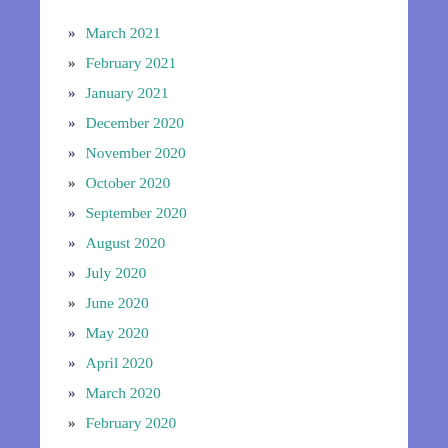» March 2021
» February 2021
» January 2021
» December 2020
» November 2020
» October 2020
» September 2020
» August 2020
» July 2020
» June 2020
» May 2020
» April 2020
» March 2020
» February 2020
» January 2020